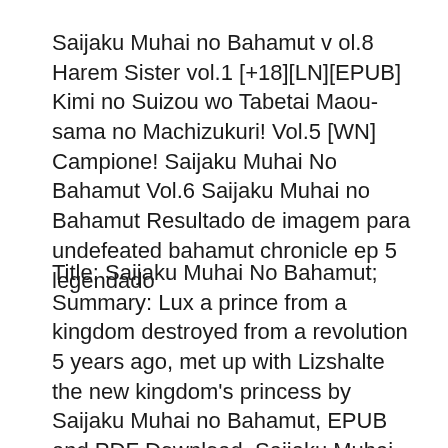Saijaku Muhai no Bahamut v ol.8 Harem Sister vol.1 [+18][LN][EPUB] Kimi no Suizou wo Tabetai Maou-sama no Machizukuri! Vol.5 [WN] Campione! Saijaku Muhai No Bahamut Vol.6 Saijaku Muhai no Bahamut Resultado de imagem para undefeated bahamut chronicle ep 5 legendado
Title: Saijaku Muhai No Bahamut; Summary: Lux a prince from a kingdom destroyed from a revolution 5 years ago, met up with Lizshalte the new kingdom's princess by Saijaku Muhai no Bahamut, EPUB and PDF Download. Saijaku Muhai no Bahamut Undefeated Bahamut Chronicle